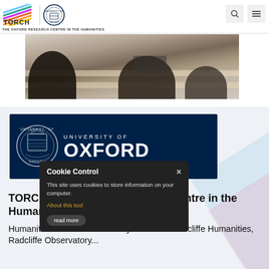TORCH | THE OXFORD RESEARCH CENTRE IN THE HUMANITIES — University of Oxford | Search | Menu
[Figure (photo): Students/attendees sitting at desks in a lecture or conference room, viewed from behind, taking notes with laptops and papers.]
[Figure (logo): University of Oxford official logo on dark navy blue banner — circular crest on left, 'UNIVERSITY OF OXFORD' text in white on right.]
Cookie Control ×
This site uses cookies to store information on your computer.
About this tool
read more
TORCH – The Oxford Research Centre in the Humanities
Humanities Division - University of Oxford Radcliffe Humanities, Radcliffe Observatory...